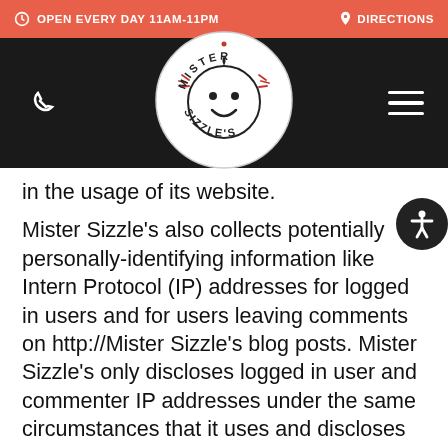OPEN EVERY DAY 11AM-11PM   DIRECTIONS
[Figure (logo): Mister Sizzle's circular logo with cartoon face and starburst accents on black navigation bar]
in the usage of its website.
Mister Sizzle's also collects potentially personally-identifying information like Intern Protocol (IP) addresses for logged in users and for users leaving comments on http://Mister Sizzle's blog posts. Mister Sizzle's only discloses logged in user and commenter IP addresses under the same circumstances that it uses and discloses personally-identifying information as described below.